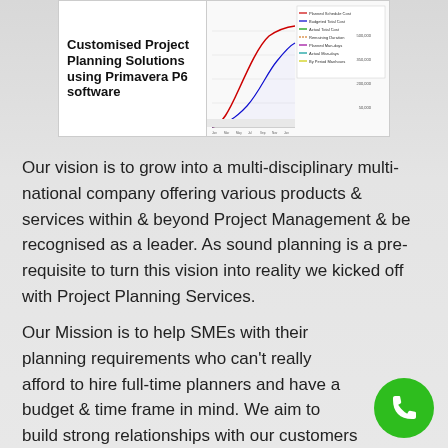[Figure (screenshot): Screenshot of Primavera P6 software showing S-curve / cost-loaded schedule chart with legend entries for Planned Schedule Cost, Budgeted Total Cost, Actual Total Cost, Remaining Duration, Planned Man-days, Actual Man-days, and By Period Manhours. The left panel shows bold text: 'Customised Project Planning Solutions using Primavera P6 software'.]
Our vision is to grow into a multi-disciplinary multi-national company offering various products & services within & beyond Project Management & be recognised as a leader. As sound planning is a pre-requisite to turn this vision into reality we kicked off with Project Planning Services.
Our Mission is to help SMEs with their planning requirements who can't really afford to hire full-time planners and have a budget & time frame in mind. We aim to build strong relationships with our customers by helping them in their needs.